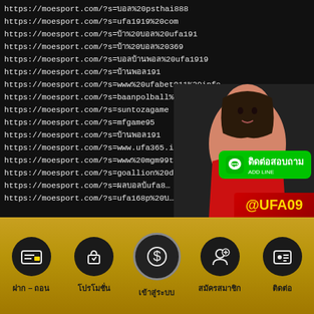https://moesport.com/?s=บอล%20psthai888
https://moesport.com/?s=ufa1919%20com
https://moesport.com/?s=บา้%20บอล%20ufa191
https://moesport.com/?s=บา้%20บอล%20369
https://moesport.com/?s=บอลบา้นพอล%20ufa1919
https://moesport.com/?s=บา้นพอล191
https://moesport.com/?s=www%20ufabet911%20info
https://moesport.com/?s=baanpolball%20ta−1234
https://moesport.com/?s=suntozagame
https://moesport.com/?s=mfgame95
https://moesport.com/?s=บา้นพอล191
https://moesport.com/?s=www.ufa365.in…
https://moesport.com/?s=www%20mgm99tt…
https://moesport.com/?s=goallion%20d…
https://moesport.com/?s=ผลบอลบา้ufa8…
https://moesport.com/?s=ufa168p%20บ…
[Figure (photo): Woman in red dress posing, LINE contact badge saying ติดต่อสอบถาม ADD LINE, and @UFA09 banner]
ฝาก – ถอน
โปรโมชั่น
เข้าสู่ระบบ
สมัครสมาชิก
ติดต่อ